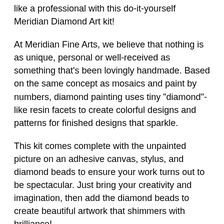like a professional with this do-it-yourself Meridian Diamond Art kit!
At Meridian Fine Arts, we believe that nothing is as unique, personal or well-received as something that's been lovingly handmade. Based on the same concept as mosaics and paint by numbers, diamond painting uses tiny "diamond"-like resin facets to create colorful designs and patterns for finished designs that sparkle.
This kit comes complete with the unpainted picture on an adhesive canvas, stylus, and diamond beads to ensure your work turns out to be spectacular. Just bring your creativity and imagination, then add the diamond beads to create beautiful artwork that shimmers with brilliance!
Just click the "Add to Cart" Button above to get yours now!
Note: The bigger the size of the picture the better the effect